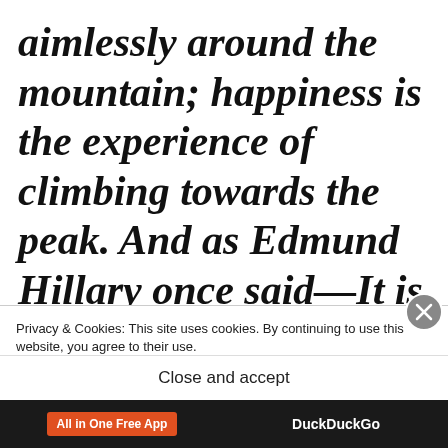aimlessly around the mountain; happiness is the experience of climbing towards the peak. And as Edmund Hillary once said—It is not the mountain we conquer, but ourselves. And that is something that w...
Privacy & Cookies: This site uses cookies. By continuing to use this website, you agree to their use. To find out more, including how to control cookies, see here: Cookie Policy
Close and accept